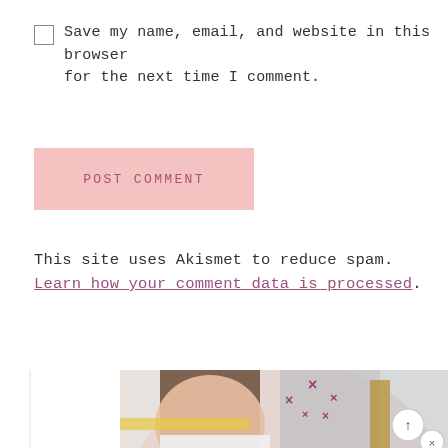Save my name, email, and website in this browser for the next time I comment.
POST COMMENT
This site uses Akismet to reduce spam. Learn how your comment data is processed.
[Figure (photo): Photo of a smiling woman with brown hair, with pink decorative X marks and a pink circle background]